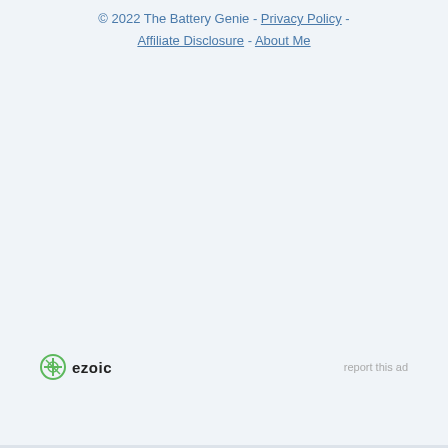© 2022 The Battery Genie - Privacy Policy - Affiliate Disclosure - About Me
[Figure (logo): Ezoic logo with green circular icon and 'ezoic' text in bold black, alongside 'report this ad' link in light gray]